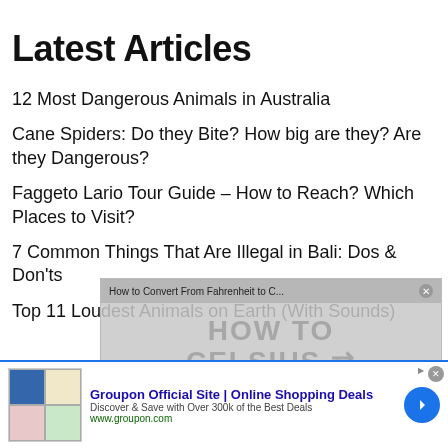Latest Articles
12 Most Dangerous Animals in Australia
Cane Spiders: Do they Bite? How big are they? Are they Dangerous?
Faggeto Lario Tour Guide – How to Reach? Which Places to Visit?
7 Common Things That Are Illegal in Bali: Dos & Don'ts
Top 11 Loudest Animals on Earth (With Sounds)
[Figure (screenshot): Video popup overlay showing 'How to Convert From Fahrenheit to C...' with message 'No compatible source was found for this media.' and CELSIUS/FAHRENHEIT background text]
[Figure (screenshot): Groupon advertisement banner: 'Groupon Official Site | Online Shopping Deals — Discover & Save with Over 300k of the Best Deals — www.groupon.com']